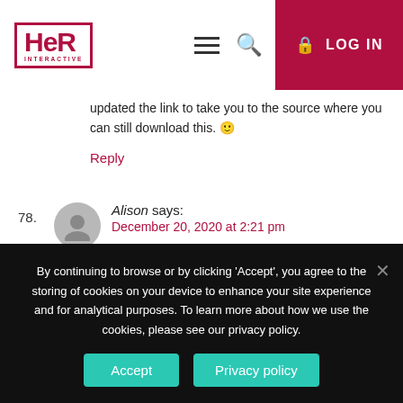[Figure (logo): HER Interactive logo in dark red/crimson with bold letters and INTERACTIVE subtitle]
updated the link to take you to the source where you can still download this. 🙂
Reply
78. Alison says: December 20, 2020 at 2:21 pm I am so frustrated trying to get Stay Tuned for Danger to work on my MAC (OS X El Capitan). Literally every other download has worked following HER's instructions expect
By continuing to browse or by clicking 'Accept', you agree to the storing of cookies on your device to enhance your site experience and for analytical purposes. To learn more about how we use the cookies, please see our privacy policy.
Accept
Privacy policy